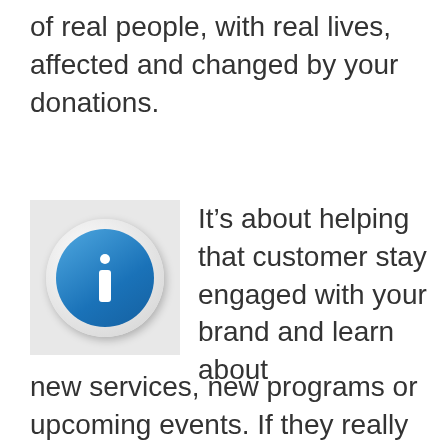of real people, with real lives, affected and changed by your donations.
[Figure (illustration): Blue information icon (letter i) inside a circular button with a white/grey border on a light grey square background]
It’s about helping that customer stay engaged with your brand and learn about new services, new programs or upcoming events. If they really like what they get from you, they feel helped and valued. Then they’re more likely to turn into vocal advocates for your